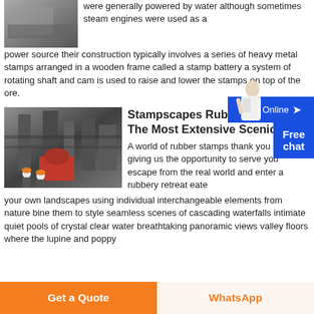[Figure (photo): Black and white photo of industrial machinery, top left corner]
were generally powered by water although sometimes steam engines were used as a power source their construction typically involves a series of heavy metal stamps arranged in a wooden frame called a stamp battery a system of rotating shaft and cam is used to raise and lower the stamps on top of the ore.
[Figure (illustration): Chat Online button with arrow icon and Free chat box overlay, right side]
[Figure (photo): Industrial machinery photo showing large equipment with workers in red helmets]
Stampscapes Rubber Stamps The Most Extensive Scenic And
A world of rubber stamps thank you for giving us the opportunity to serve you escape from the real world and enter a rubbery retreat eate your own landscapes using individual interchangeable elements from nature bine them to style seamless scenes of cascading waterfalls intimate quiet pools of crystal clear water breathtaking panoramic views valley floors where the lupine and poppy
Get a Quote
WhatsApp